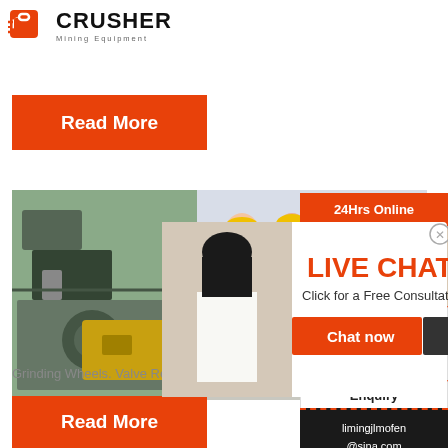[Figure (logo): Crusher Mining Equipment logo with red shopping bag icon and bold CRUSHER text]
Read More
[Figure (photo): Industrial mining site and workers wearing yellow hard hats]
[Figure (infographic): Live Chat overlay popup with Chat now and Chat later buttons, 24Hrs Online banner, woman with headset, Need questions & suggestion chat box, Enquiry section, limingjlmofen@sina.com email]
Grinding Wheels. Valve Refacer Wheels. Valve m...
Read More